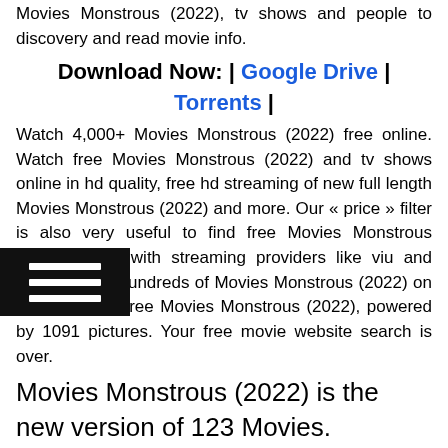Movies Monstrous (2022), tv shows and people to discovery and read movie info.
Download Now: | Google Drive | Torrents |
Watch 4,000+ Movies Monstrous (2022) free online. Watch free Movies Monstrous (2022) and tv shows online in hd quality, free hd streaming of new full length Movies Monstrous (2022) and more. Our « price » filter is also very useful to find free Movies Monstrous (2022) online with streaming providers like viu and voot. Stream hundreds of Movies Monstrous (2022) on demand from free Movies Monstrous (2022), powered by 1091 pictures. Your free movie website search is over.
Movies Monstrous (2022) is the new version of 123 Movies.
Watch free Movies Monstrous (2022) and tv shows online in hd on any device. Watch netflix Movies Monstrous (2022) & tv shows